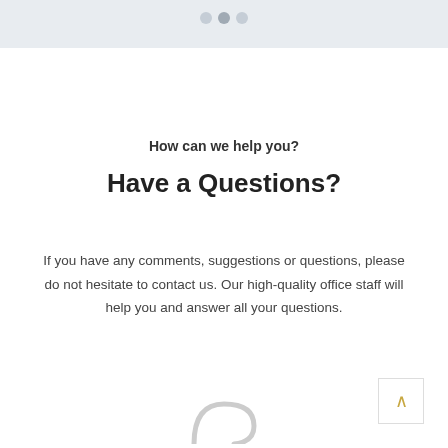How can we help you?
Have a Questions?
If you have any comments, suggestions or questions, please do not hesitate to contact us. Our high-quality office staff will help you and answer all your questions.